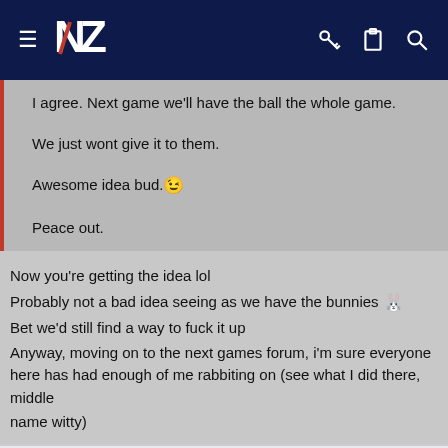[Figure (screenshot): Website header with dark navy background, hamburger menu icon, NZ logo, key icon, clipboard icon, and search icon]
I agree. Next game we'll have the ball the whole game.

We just wont give it to them.

Awesome idea bud. 😉

Peace out.
Now you're getting the idea lol
Probably not a bad idea seeing as we have the bunnies 🐰
Bet we'd still find a way to fuck it up
Anyway, moving on to the next games forum, i'm sure everyone here has had enough of me rabbiting on (see what I did there, middle name witty)
Oops! We ran into some problems.
Cookies are required to use this site. You must accept them to continue using the site.